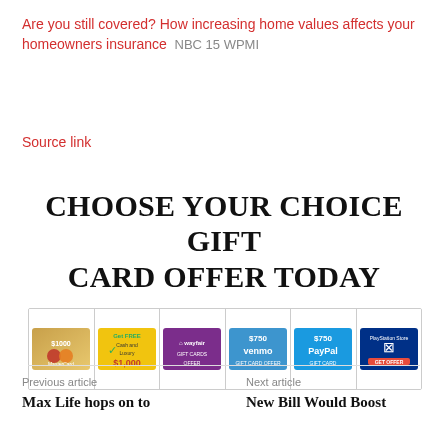Are you still covered? How increasing home values affects your homeowners insurance  NBC 15 WPMI
Source link
CHOOSE YOUR CHOICE GIFT CARD OFFER TODAY
[Figure (other): Row of gift card offer images: MasterCard $1000, Get FREE Cash and Luxury $1,000, Wayfair Gift Cards Offer, $750 Venmo, $750 PayPal, PlayStation Store gift card]
Previous article
Max Life hops on to
Next article
New Bill Would Boost